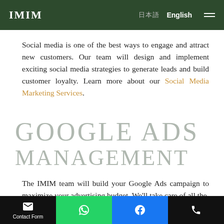IMIM | 日本語 English
Social media is one of the best ways to engage and attract new customers. Our team will design and implement exciting social media strategies to generate leads and build customer loyalty. Learn more about our Social Media Marketing Services.
GOOGLE ADS MANAGEMENT
The IMIM team will build your Google Ads campaign to maximize your advertising budget. We'll take care of all the
Contact Form | WhatsApp | Messenger | Phone